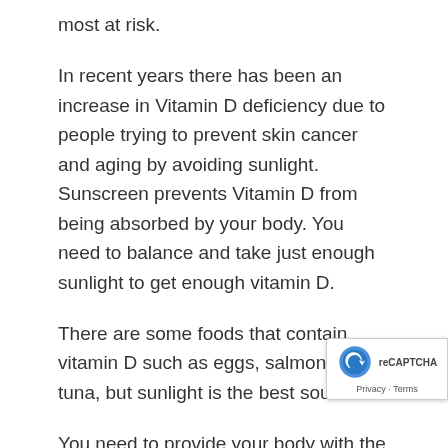most at risk.
In recent years there has been an increase in Vitamin D deficiency due to people trying to prevent skin cancer and aging by avoiding sunlight. Sunscreen prevents Vitamin D from being absorbed by your body. You need to balance and take just enough sunlight to get enough vitamin D.
There are some foods that contain vitamin D such as eggs, salmon and tuna, but sunlight is the best source.
You need to provide your body with the right vitamins to stay healthy, if you avoid sunlight then you need to get your Vitamin D from Supplements or food. There are some Supplements in the Market that are good and are not expensive, but you need to do you due dili and research to find that what is good and what is waste of your money.